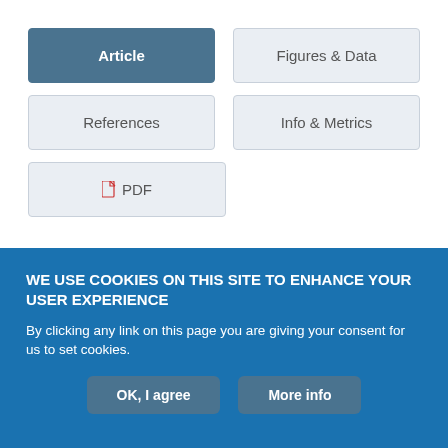[Figure (screenshot): Navigation tab buttons: Article (active/dark), Figures & Data, References, Info & Metrics, PDF]
Abstract
Even in a strong job market with low overall unemployment, a
WE USE COOKIES ON THIS SITE TO ENHANCE YOUR USER EXPERIENCE
By clicking any link on this page you are giving your consent for us to set cookies.
OK, I agree   More info